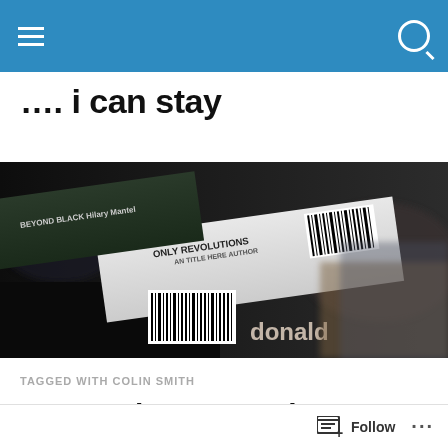Navigation bar with hamburger menu and search icon
…. i can stay
[Figure (photo): Close-up photo of stacked books showing spines: 'BEYOND BLACK' and 'ONLY REVOLUTIONS', with barcode visible on one spine. Dark blurred background.]
TAGGED WITH COLIN SMITH
Guest Blogger! – The Lost Fleet: Courageous by Jack Campbell
Follow ...